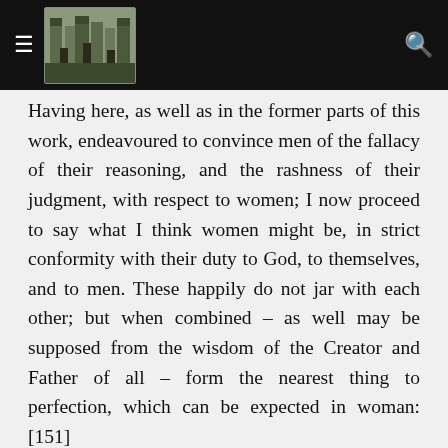[Navigation bar with hamburger menu, castle logo image, and search icon]
Having here, as well as in the former parts of this work, endeavoured to convince men of the fallacy of their reasoning, and the rashness of their judgment, with respect to women; I now proceed to say what I think women might be, in strict conformity with their duty to God, to themselves, and to men. These happily do not jar with each other; but when combined – as well may be supposed from the wisdom of the Creator and Father of all – form the nearest thing to perfection, which can be expected in woman: [151]
A Greek author, whose very name carries weight with it, though unluckily it is too learned